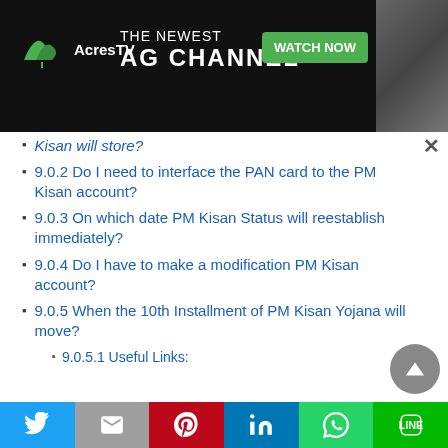[Figure (screenshot): AcresTV advertisement banner - black background with AcresTV logo, 'THE NEWEST AG CHANNEL' tagline, and green 'WATCH NOW' button]
Kisan will store? (partial, truncated at top)
9.0.2 Do I need to interface the PAN card to the PM Kisan account?
9.0.3 On which date PM Kisan Status will reestablish immediately?
9.0.4 Do I have to make a modification PM Kisan account?
9.0.5 When the 10th Installment of PM Kisan Yojana will move?
9.0.5.1 Useful Links: